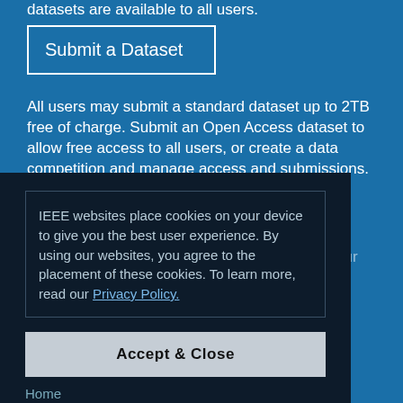datasets are available to all users.
Submit a Dataset
All users may submit a standard dataset up to 2TB free of charge. Submit an Open Access dataset to allow free access to all users, or create a data competition and manage access and submissions.
IEEE websites place cookies on your device to give you the best user experience. By using our websites, you agree to the placement of these cookies. To learn more, read our Privacy Policy.
Accept & Close
IEEE DataPort subscribers may download all our datasets or access them directly on AWS.
Home